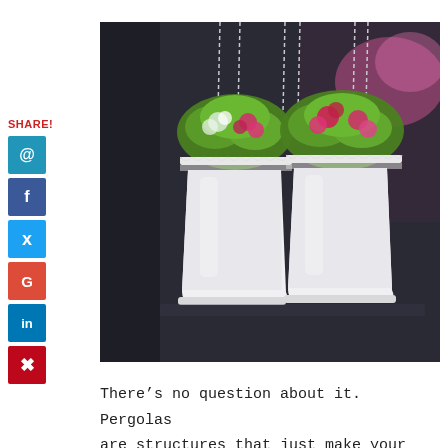SHARE!
[Figure (photo): Two white decorative hanging flower pots with lace-pattern rims, filled with green plants and pink/white flowers, suspended by chains against a blurred dark background.]
There’s no question about it. Pergolas are structures that just make your